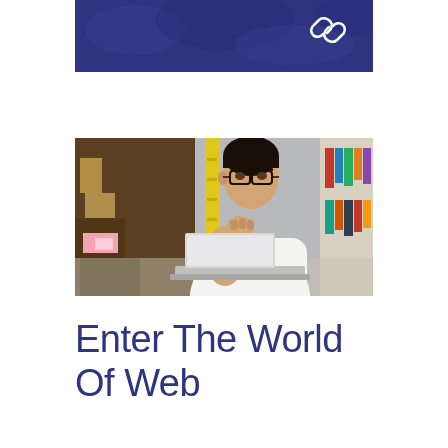[Figure (photo): Dark blue textured banner with a white chain link icon in the upper right]
[Figure (photo): Man with glasses wearing white shirt, leaning over a laptop in a bookshelf-filled room, thinking with hand on chin]
Enter The World Of Web Design with